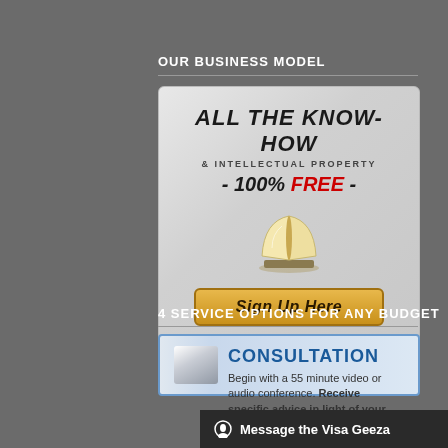OUR BUSINESS MODEL
[Figure (infographic): Promotional card with 'ALL THE KNOW-HOW & INTELLECTUAL PROPERTY - 100% FREE -' with book icon and 'Sign Up Here' button]
4 SERVICE OPTIONS FOR ANY BUDGET
[Figure (infographic): Consultation service card with blue header 'CONSULTATION' and text 'Begin with a 55 minute video or audio conference. Receive specific advice in light of your exa...']
Message the Visa Geeza